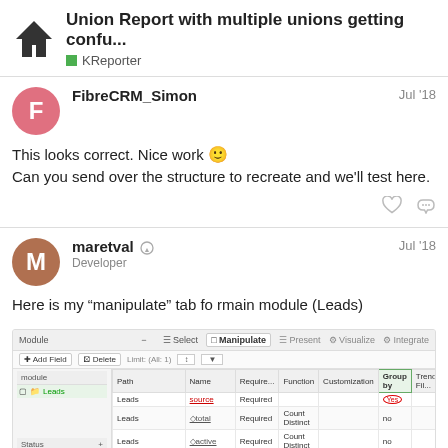Union Report with multiple unions getting confu... | KReporter
FibreCRM_Simon
Jul '18
This looks correct. Nice work 🙂
Can you send over the structure to recreate and we'll test here.
maretval
Developer
Jul '18
Here is my “manipulate” tab fo rmain module (Leads)
[Figure (screenshot): Screenshot of a KReporter Manipulate tab interface showing a table with columns: Path, Name, Require, Function, Customization, Group by, TrendFil..., Start, Formula. Rows include Leads source (Required, with red circled 'Yes' in Group by), Leads total (Required, Count Distinct), Leads active (Required, Count Distinct), Leads converted (Required, Count Distinct, 0, converted), and Leads>Opportunity row. Left sidebar shows Module selector and status bar.]